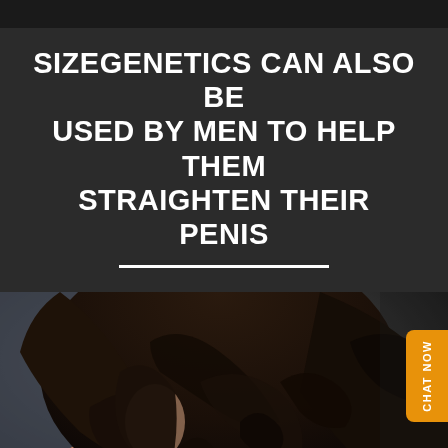SIZEGENETICS CAN ALSO BE USED BY MEN TO HELP THEM STRAIGHTEN THEIR PENIS
[Figure (photo): Woman with long dark wavy/curly hair, viewed from behind/side, dark background, partial shoulder visible]